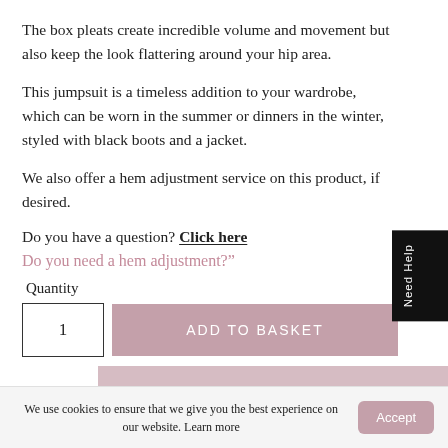The box pleats create incredible volume and movement but also keep the look flattering around your hip area.
This jumpsuit is a timeless addition to your wardrobe, which can be worn in the summer or dinners in the winter, styled with black boots and a jacket.
We also offer a hem adjustment service on this product, if desired.
Do you have a question? Click here
Do you need a hem adjustment?"
Quantity
1
ADD TO BASKET
Need Help
We use cookies to ensure that we give you the best experience on our website. Learn more
Accept